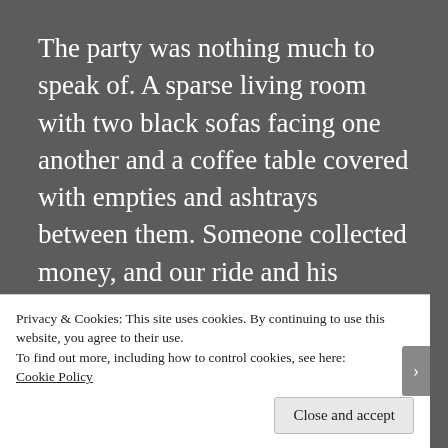The party was nothing much to speak of.  A sparse living room with two black sofas facing one another and a coffee table covered with empties and ashtrays between them.  Someone collected money, and our ride and his navigator went on a beer run.  We made small talk with the other kids while we waited.  Someone passed a joint around.  The room filled with the pungent haze of weed and
Privacy & Cookies: This site uses cookies. By continuing to use this website, you agree to their use.
To find out more, including how to control cookies, see here: Cookie Policy
Close and accept